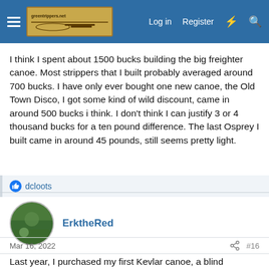Navigation bar with hamburger menu, site logo, Log in, Register, and search icons
I think I spent about 1500 bucks building the big freighter canoe. Most strippers that I built probably averaged around 700 bucks. I have only ever bought one new canoe, the Old Town Disco, I got some kind of wild discount, came in around 500 bucks i think. I don't think I can justify 3 or 4 thousand bucks for a ten pound difference. The last Osprey I built came in around 45 pounds, still seems pretty light.
dcloots
ErktheRed
Mar 16, 2022   #16
Last year, I purchased my first Kevlar canoe, a blind purchase for a used Northstar. It was used for one season and the serial # and sings reflects that. I paid $1,500 for it and drove from